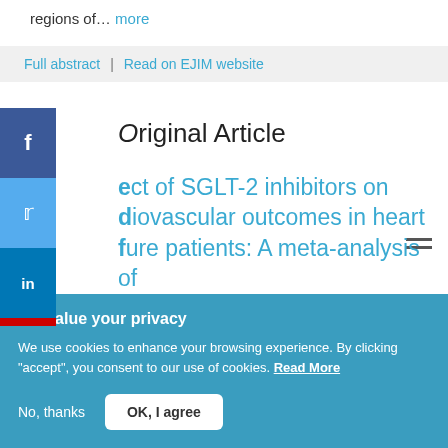regions of… more
Full abstract | Read on EJIM website
Original Article
Effect of SGLT-2 inhibitors on cardiovascular outcomes in heart failure patients: A meta-analysis of
We value your privacy
We use cookies to enhance your browsing experience. By clicking "accept", you consent to our use of cookies. Read More
No, thanks  OK, I agree